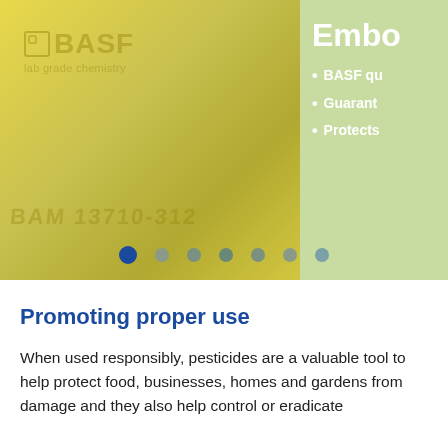[Figure (photo): Close-up photo of a yellow BASF lab-grade chemical container with embossed logo and product code BAM 13710-312, partially overlapping a green background panel on the right side showing bullet points and partial title 'Embo...']
BASF qu...
Guarant...
Protects...
Promoting proper use
When used responsibly, pesticides are a valuable tool to help protect food, businesses, homes and gardens from damage and they also help control or eradicate disease-carrying pests.